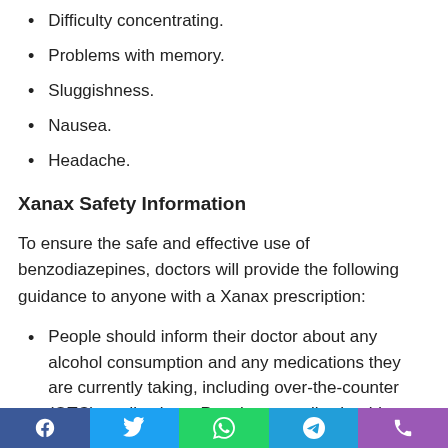Difficulty concentrating.
Problems with memory.
Sluggishness.
Nausea.
Headache.
Xanax Safety Information
To ensure the safe and effective use of benzodiazepines, doctors will provide the following guidance to anyone with a Xanax prescription:
People should inform their doctor about any alcohol consumption and any medications they are currently taking, including over-the-counter (OTC) medications. People generally should not